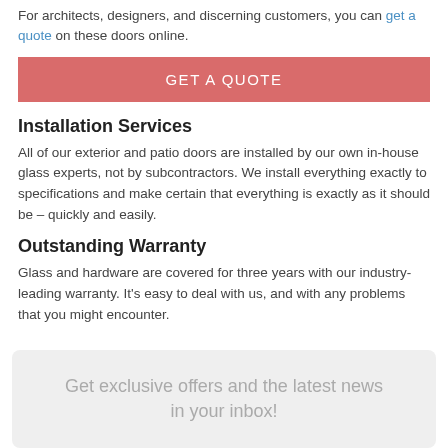For architects, designers, and discerning customers, you can get a quote on these doors online.
GET A QUOTE
Installation Services
All of our exterior and patio doors are installed by our own in-house glass experts, not by subcontractors. We install everything exactly to specifications and make certain that everything is exactly as it should be – quickly and easily.
Outstanding Warranty
Glass and hardware are covered for three years with our industry-leading warranty. It's easy to deal with us, and with any problems that you might encounter.
Get exclusive offers and the latest news in your inbox!